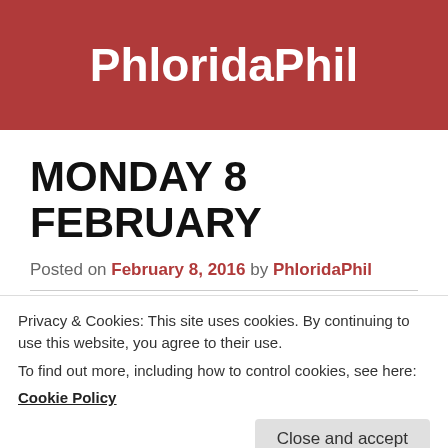PhloridaPhil
MONDAY 8 FEBRUARY
Posted on February 8, 2016 by PhloridaPhil
Last Thursday I did some stuff around the house including type the previous blog and in the afternoon
Privacy & Cookies: This site uses cookies. By continuing to use this website, you agree to their use.
To find out more, including how to control cookies, see here:
Cookie Policy
not believe it.